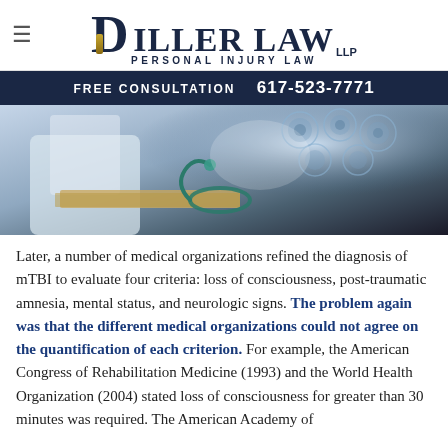DILLER LAW LLP — PERSONAL INJURY LAW
FREE CONSULTATION   617-523-7771
[Figure (photo): Medical photo showing a stethoscope on papers with brain MRI scans in the background]
Later, a number of medical organizations refined the diagnosis of mTBI to evaluate four criteria: loss of consciousness, post-traumatic amnesia, mental status, and neurologic signs. The problem again was that the different medical organizations could not agree on the quantification of each criterion. For example, the American Congress of Rehabilitation Medicine (1993) and the World Health Organization (2004) stated loss of consciousness for greater than 30 minutes was required. The American Academy of